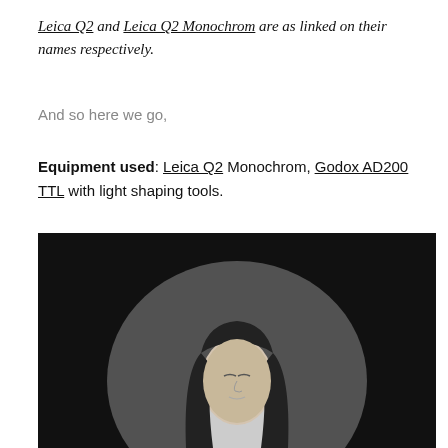Leica Q2 and Leica Q2 Monochrom are as linked on their names respectively.
And so here we go,
Equipment used: Leica Q2 Monochrom, Godox AD200 TTL with light shaping tools.
[Figure (photo): Black and white portrait photograph of a woman with long dark hair, eyes closed, against a dark background with a large circular light shape behind her.]